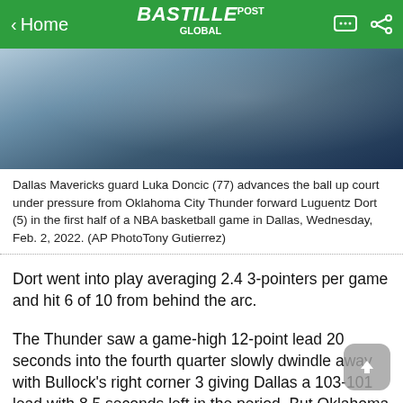< Home | BASTILLE POST GLOBAL
[Figure (photo): Basketball game photo showing Dallas Mavericks guard Luka Doncic (77) advancing the ball under pressure from Oklahoma City Thunder forward Luguentz Dort (5)]
Dallas Mavericks guard Luka Doncic (77) advances the ball up court under pressure from Oklahoma City Thunder forward Luguentz Dort (5) in the first half of a NBA basketball game in Dallas, Wednesday, Feb. 2, 2022. (AP PhotoTony Gutierrez)
Dort went into play averaging 2.4 3-pointers per game and hit 6 of 10 from behind the arc.
The Thunder saw a game-high 12-point lead 20 seconds into the fourth quarter slowly dwindle away with Bullock’s right corner 3 giving Dallas a 103-101 lead with 8.5 seconds left in the period. But Oklahoma City sent the game to overtime on Williams’ layup with 7.5 seconds to go, followed by Doncic missing on a 28-foot 3-point shot at the buzzer.
Each team played without one of its top players —